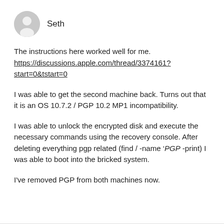[Figure (illustration): Generic user avatar icon (grey circle with person silhouette)]
Seth
The instructions here worked well for me. https://discussions.apple.com/thread/3374161?start=0&tstart=0
I was able to get the second machine back. Turns out that it is an OS 10.7.2 / PGP 10.2 MP1 incompatibility.
I was able to unlock the encrypted disk and execute the necessary commands using the recovery console. After deleting everything pgp related (find / -name 'PGP -print) I was able to boot into the bricked system.
I've removed PGP from both machines now.